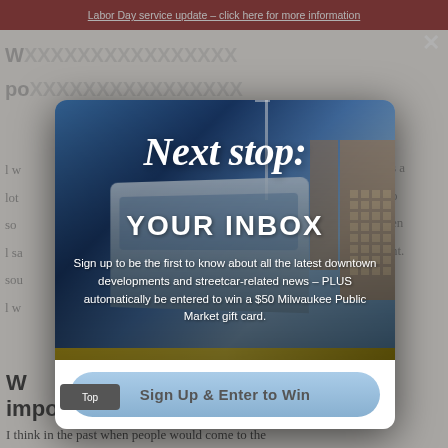Labor Day service update – click here for more information
W... po...
l w... lot... so... l sa... sou... l w...
[Figure (photo): Modal popup overlay on a transit/streetcar website. Background shows blurred streetcar/tram image. Modal contains cursive text 'Next stop:' in white, bold 'YOUR INBOX' in white, descriptive text about signing up for downtown developments and streetcar news, and a light blue 'Sign Up & Enter to Win' button.]
W... important.
I think in the past when people would come to the